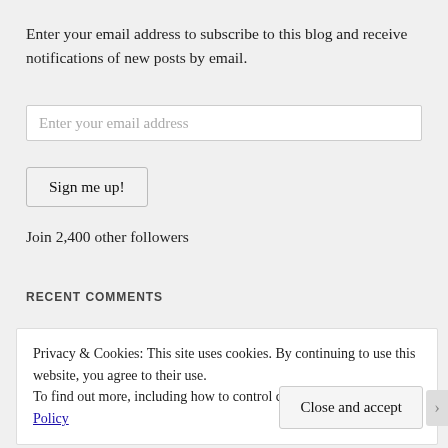Enter your email address to subscribe to this blog and receive notifications of new posts by email.
Enter your email address
Sign me up!
Join 2,400 other followers
RECENT COMMENTS
Privacy & Cookies: This site uses cookies. By continuing to use this website, you agree to their use.
To find out more, including how to control cookies, see here: Cookie Policy
Close and accept